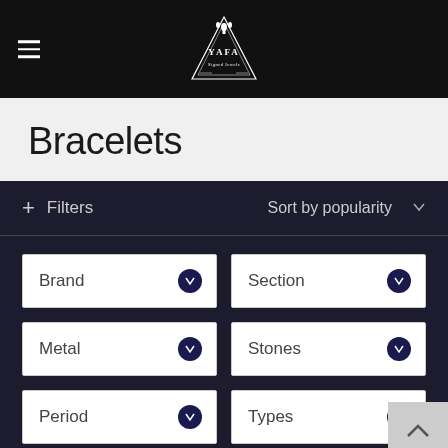[Figure (logo): YAFA logo in white on black header bar with hamburger menu icon]
Bracelets
+ Filters   Sort by popularity
Brand (dropdown)  Section (dropdown)  Metal (dropdown)  Stones (dropdown)  Period (dropdown)  Types (dropdown)